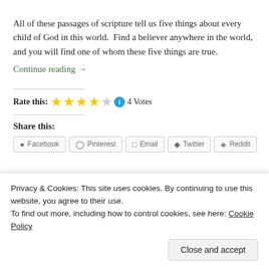All of these passages of scripture tell us five things about every child of God in this world.  Find a believer anywhere in the world, and you will find one of whom these five things are true.
Continue reading →
Rate this: ★★★★☆ ⓘ 4 Votes
Share this:
Facebook Pinterest Email Twitter Reddit
Privacy & Cookies: This site uses cookies. By continuing to use this website, you agree to their use.
To find out more, including how to control cookies, see here: Cookie Policy
Close and accept